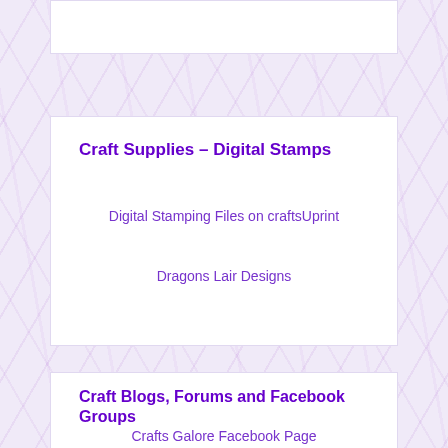Craft Supplies – Digital Stamps
Digital Stamping Files on craftsUprint
Dragons Lair Designs
Craft Blogs, Forums and Facebook Groups
Crafts Galore Facebook Page